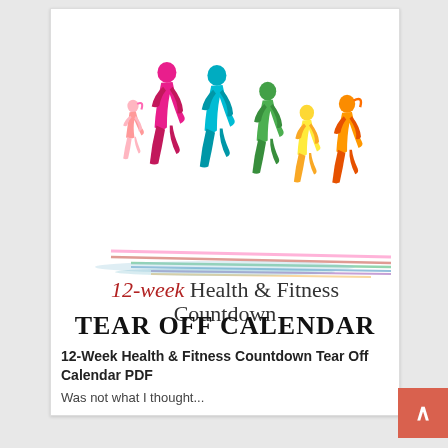[Figure (illustration): A cover image for '12-week Health & Fitness Countdown Tear Off Calendar PDF' showing colorful silhouettes of runners in rainbow colors (pink, magenta, purple, blue-green, green, yellow, orange) running across the image. Below the runners is the text '12-week Health & Fitness Countdown' in serif font with '12-week' in red/crimson and the rest in dark gray, followed by 'TEAR OFF CALENDAR' in large bold decorative black font.]
12-Week Health & Fitness Countdown Tear Off Calendar PDF
Was not what I thought...